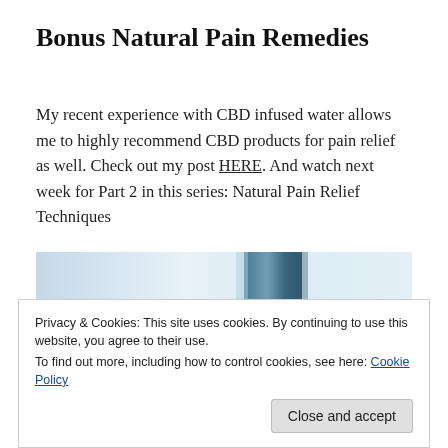Bonus Natural Pain Remedies
My recent experience with CBD infused water allows me to highly recommend CBD products for pain relief as well. Check out my post HERE. And watch next week for Part 2 in this series: Natural Pain Relief Techniques
[Figure (photo): Partial image showing a light blue/white blurred background with a dark teal vertical element, likely a CBD water bottle or product]
Privacy & Cookies: This site uses cookies. By continuing to use this website, you agree to their use.
To find out more, including how to control cookies, see here: Cookie Policy
Close and accept